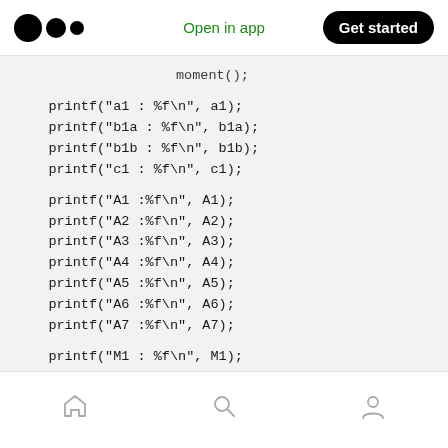Open in app | Get started
moment();
printf("a1 : %f\n", a1);
printf("b1a : %f\n", b1a);
printf("b1b : %f\n", b1b);
printf("c1 : %f\n", c1);
printf("A1 :%f\n", A1);
printf("A2 :%f\n", A2);
printf("A3 :%f\n", A3);
printf("A4 :%f\n", A4);
printf("A5 :%f\n", A5);
printf("A6 :%f\n", A6);
printf("A7 :%f\n", A7);
printf("M1 : %f\n", M1);
printf("M2 : %f\n", M2);
printf("M3 : %f\n", M3);
printf("M4 : %f\n", M4);